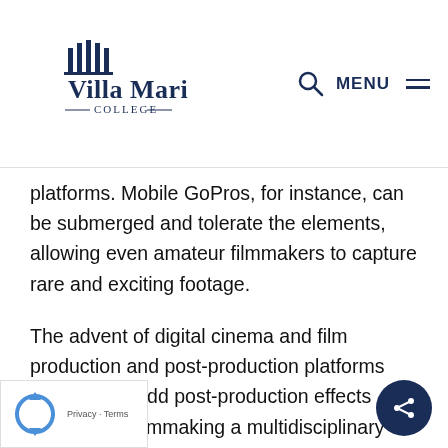[Figure (logo): Villa Maria College logo with building icon and stylized text]
platforms. Mobile GoPros, for instance, can be submerged and tolerate the elements, allowing even amateur filmmakers to capture rare and exciting footage.
The advent of digital cinema and film production and post-production platforms designed to add post-production effects have made filmmaking a multidisciplinary activity. As opposed to traditional filmmaking where each crew member had a specific job, many filmmakers are